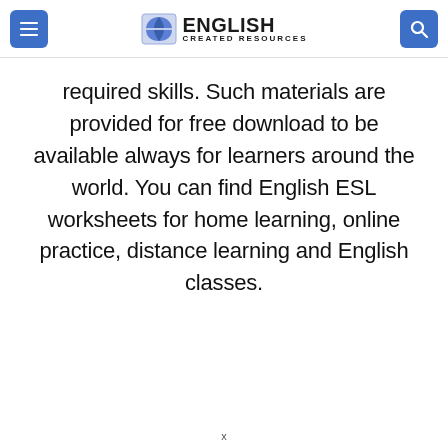ENGLISH CREATED RESOURCES
required skills. Such materials are provided for free download to be available always for learners around the world. You can find English ESL worksheets for home learning, online practice, distance learning and English classes.
x